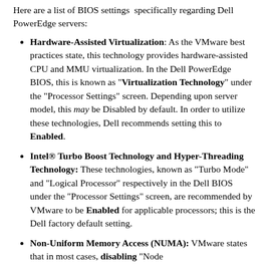Here are a list of BIOS settings specifically regarding Dell PowerEdge servers:
Hardware-Assisted Virtualization: As the VMware best practices state, this technology provides hardware-assisted CPU and MMU virtualization. In the Dell PowerEdge BIOS, this is known as "Virtualization Technology" under the "Processor Settings" screen. Depending upon server model, this may be Disabled by default. In order to utilize these technologies, Dell recommends setting this to Enabled.
Intel® Turbo Boost Technology and Hyper-Threading Technology: These technologies, known as "Turbo Mode" and "Logical Processor" respectively in the Dell BIOS under the "Processor Settings" screen, are recommended by VMware to be Enabled for applicable processors; this is the Dell factory default setting.
Non-Uniform Memory Access (NUMA): VMware states that in most cases, disabling "Node